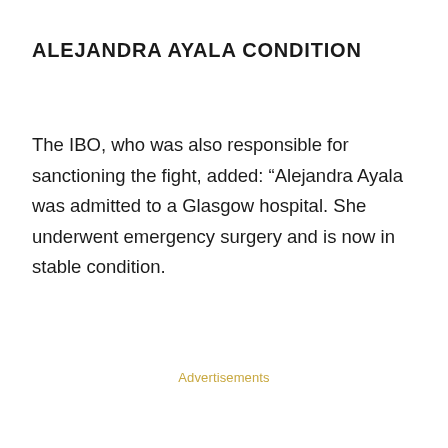ALEJANDRA AYALA CONDITION
The IBO, who was also responsible for sanctioning the fight, added: “Alejandra Ayala was admitted to a Glasgow hospital. She underwent emergency surgery and is now in stable condition.
Advertisements